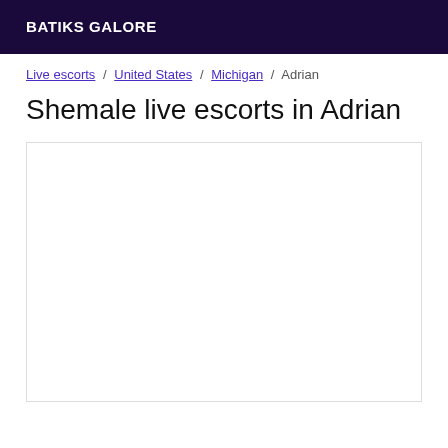BATIKS GALORE
Live escorts / United States / Michigan / Adrian
Shemale live escorts in Adrian
[Figure (other): Empty white content box with border]